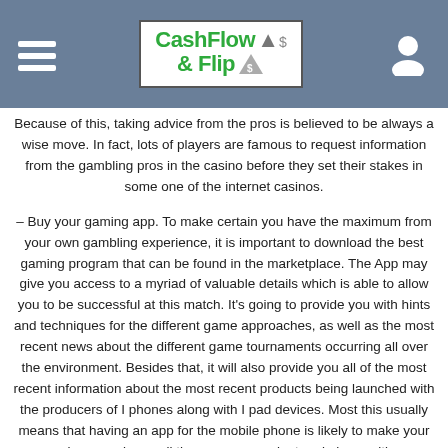CashFlow & Flip
Because of this, taking advice from the pros is believed to be always a wise move. In fact, lots of players are famous to request information from the gambling pros in the casino before they set their stakes in some one of the internet casinos.
– Buy your gaming app. To make certain you have the maximum from your own gambling experience, it is important to download the best gaming program that can be found in the marketplace. The App may give you access to a myriad of valuable details which is able to allow you to be successful at this match. It's going to provide you with hints and techniques for the different game approaches, as well as the most recent news about the different game tournaments occurring all over the environment. Besides that, it will also provide you all of the most recent information about the most recent products being launched with the producers of I phones along with I pad devices. Most this usually means that having an app for the mobile phone is likely to make your gaming experience all the more convenient and also exciting.
If you have any questions concerning wherever and how to use